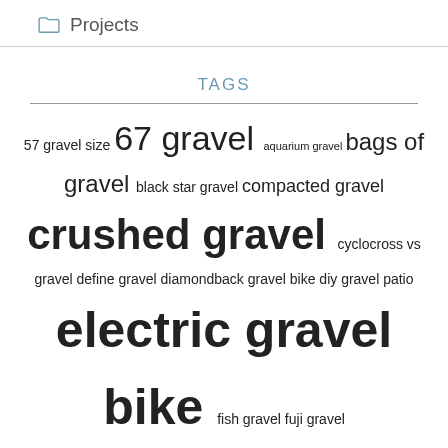Projects
TAGS
57 gravel size 67 gravel aquarium gravel bags of gravel black star gravel compacted gravel crushed gravel cyclocross vs gravel define gravel diamondback gravel bike diy gravel patio electric gravel bike fish gravel fuji gravel bike gravel albuquerque gravel and gold gravel bar gravel bicycle gravel companies gravel delivery gravel driveway grid gravel edging gravel handlebars gravel king gravel lok gravel map gravel patio ideas home depot gravel jessiann gravel beland kim gravel kona gravel bike